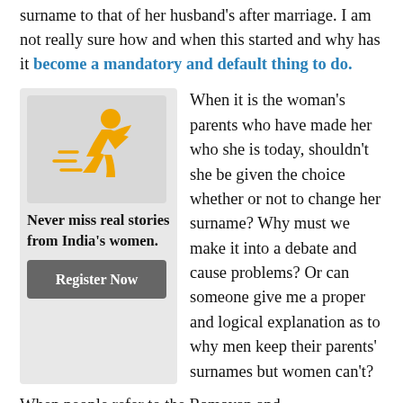surname to that of her husband's after marriage. I am not really sure how and when this started and why has it become a mandatory and default thing to do.
[Figure (illustration): Orange running woman icon on grey background, representing women empowerment]
Never miss real stories from India's women.
Register Now
When it is the woman's parents who have made her who she is today, shouldn't she be given the choice whether or not to change her surname? Why must we make it into a debate and cause problems? Or can someone give me a proper and logical explanation as to why men keep their parents' surnames but women can't?
When people refer to the Ramayan and